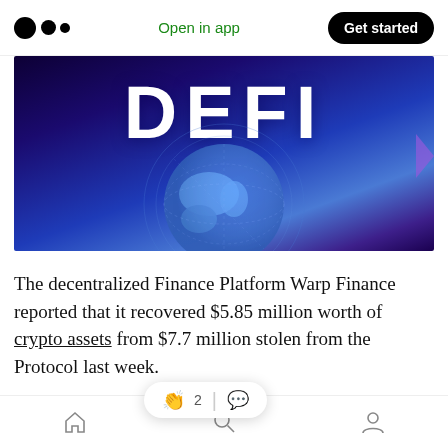Medium app header — logo, Open in app, Get started
[Figure (illustration): DeFi banner image: dark blue/purple background with a globe and large white 'DEFI' text]
The decentralized Finance Platform Warp Finance reported that it recovered $5.85 million worth of crypto assets from $7.7 million stolen from the Protocol last week.
On December 18, ... Finance Protocol
Bottom navigation bar with home, search, and profile icons